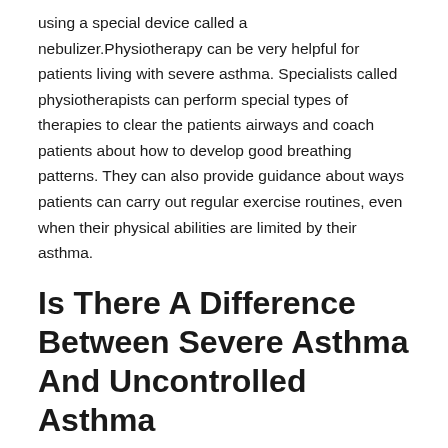using a special device called a nebulizer.Physiotherapy can be very helpful for patients living with severe asthma. Specialists called physiotherapists can perform special types of therapies to clear the patients airways and coach patients about how to develop good breathing patterns. They can also provide guidance about ways patients can carry out regular exercise routines, even when their physical abilities are limited by their asthma.
Is There A Difference Between Severe Asthma And Uncontrolled Asthma
Not all uncontrolled asthma is severe and not all severe asthma is uncontrolled. A person with mild or moderate asthma can have uncontrolled asthma. Lack of control is